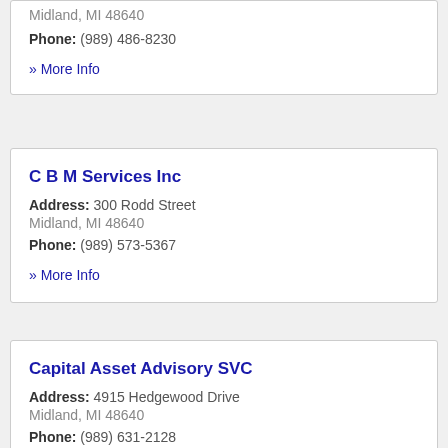Midland, MI 48640
Phone: (989) 486-8230
» More Info
C B M Services Inc
Address: 300 Rodd Street Midland, MI 48640
Phone: (989) 573-5367
» More Info
Capital Asset Advisory SVC
Address: 4915 Hedgewood Drive Midland, MI 48640
Phone: (989) 631-2128